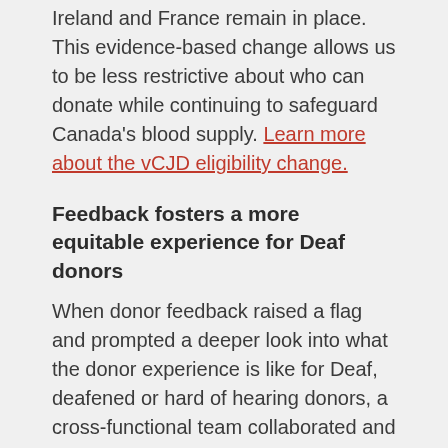Ireland and France remain in place. This evidence-based change allows us to be less restrictive about who can donate while continuing to safeguard Canada's blood supply. Learn more about the vCJD eligibility change.
Feedback fosters a more equitable experience for Deaf donors
When donor feedback raised a flag and prompted a deeper look into what the donor experience is like for Deaf, deafened or hard of hearing donors, a cross-functional team collaborated and identified a few gaps. To ensure that this group of donors felt like a valued part of Canada's Lifeline, we took action and made changes, including adding a new page on blood.ca. This has been a true win for donor